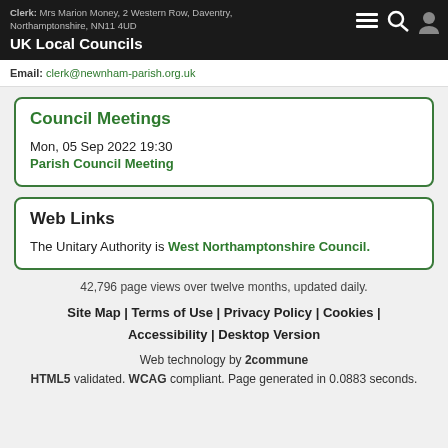UK Local Councils — Clerk: Mrs Marion Money, 2 Western Row, Daventry, Northamptonshire, NN11 4UD
Email: clerk@newnham-parish.org.uk
Council Meetings
Mon, 05 Sep 2022 19:30
Parish Council Meeting
Web Links
The Unitary Authority is West Northamptonshire Council.
42,796 page views over twelve months, updated daily.
Site Map | Terms of Use | Privacy Policy | Cookies | Accessibility | Desktop Version
Web technology by 2commune HTML5 validated. WCAG compliant. Page generated in 0.0883 seconds.